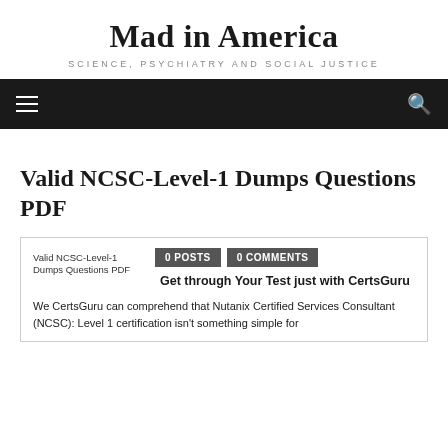Mad in America
SCIENCE, PSYCHIATRY AND SOCIAL JUSTICE
Valid NCSC-Level-1 Dumps Questions PDF
[Figure (illustration): Broken image placeholder with caption: Valid NCSC-Level-1 Dumps Questions PDF]
0 POSTS   0 COMMENTS
Get through Your Test just with CertsGuru
We CertsGuru can comprehend that Nutanix Certified Services Consultant (NCSC): Level 1 certification isn't something simple for